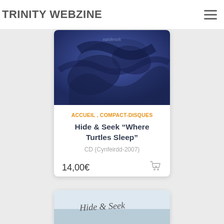TRINITY WEBZINE
[Figure (photo): Album cover art for Hide & Seek 'Where Turtles Sleep' - dark blue tones with abstract shapes]
ACCUEIL , COMPACT-DISQUES
Hide & Seek “Where Turtles Sleep”
CD (Cynfeirdd-2007)
14,00€
[Figure (photo): Partially visible album cover for a second product showing handwritten text 'Hide & Seek']